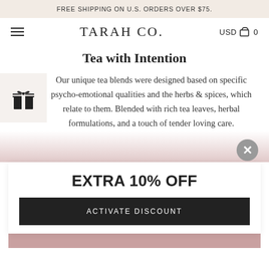FREE SHIPPING ON U.S. ORDERS OVER $75.
TARAH CO.
USD  0
Tea with Intention
Our unique tea blends were designed based on specific psycho-emotional qualities and the herbs & spices, which relate to them. Blended with rich tea leaves, herbal formulations, and a touch of tender loving care.
[Figure (illustration): Gift box icon in black on a light beige background]
EXTRA 10% OFF
ACTIVATE DISCOUNT